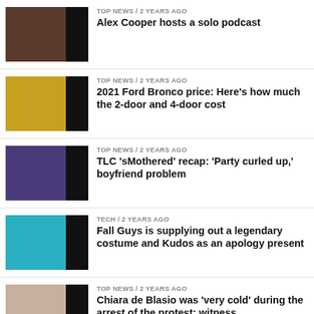TOP NEWS / 2 years ago
Alex Cooper hosts a solo podcast
TOP NEWS / 2 years ago
2021 Ford Bronco price: Here’s how much the 2-door and 4-door cost
TOP NEWS / 2 years ago
TLC ‘sMothered’ recap: ‘Party curled up,’ boyfriend problem
TECH / 2 years ago
Fall Guys is supplying out a legendary costume and Kudos as an apology present
TOP NEWS / 2 years ago
Chiara de Blasio was ‘very cold’ during the arrest of the protest: witness
TOP NEWS / 2 years ago
How to Watch Yellowstone Season 3, Episode 3 Live Online...